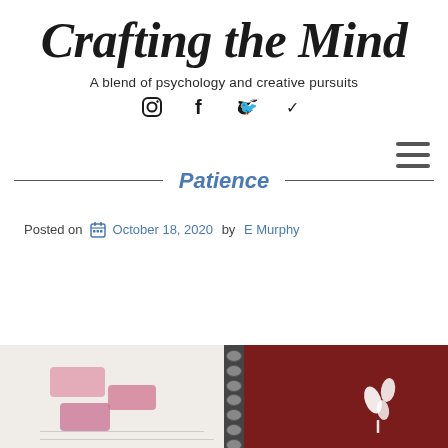Crafting the Mind
A blend of psychology and creative pursuits
[Figure (other): Social media icons: Instagram, Facebook, Twitter]
[Figure (other): Hamburger menu icon (three horizontal lines)]
Patience
Posted on  October 18, 2020  by  E Murphy
[Figure (photo): Photo showing two crafting notebooks side by side. Left notebook has pink/mauve rectangular shapes on white background. Right notebook has dark maroon/red cover with white leaf/spoon design. A spiral binding is visible in the center.]